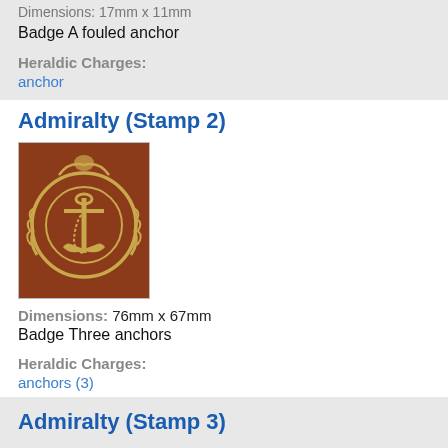Dimensions: 17mm x 11mm
Badge A fouled anchor
Heraldic Charges: anchor
Admiralty (Stamp 2)
[Figure (photo): A heraldic stamp featuring three anchors within an ornate circular border with scrollwork, on a brown/red background, with gold decorative elements.]
Dimensions: 76mm x 67mm
Badge Three anchors
Heraldic Charges: anchors (3)
Admiralty (Stamp 3)